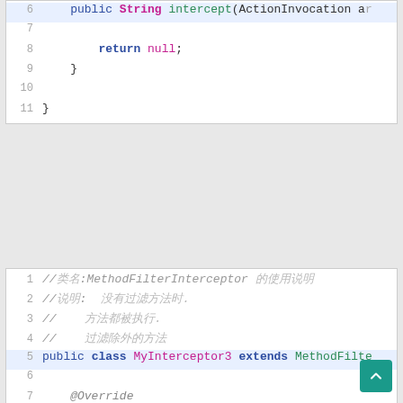[Figure (screenshot): Code editor screenshot showing Java code. Top block (lines 6-11): end of a method with 'return null;' and closing braces. Bottom block (lines 1-15): Java class MyInterceptor3 extending MethodFilterInterceptor with @Override doIntercept method, comments in Chinese (garbled), System.out.println calls, and String result = invocation.invoke();]
Top code block lines 6-11: public String intercept(ActionInvocation ar... / return null; / } / } Bottom code block lines 1-15: //comments MethodFilterInterceptor / public class MyInterceptor3 extends MethodFilte... / @Override / protected String doIntercept(ActionInvocati... / System.out.println("MyInterceptor3 ...") / String result = invocation.invoke(); / System.out.println("MyInterceptor3 ...")